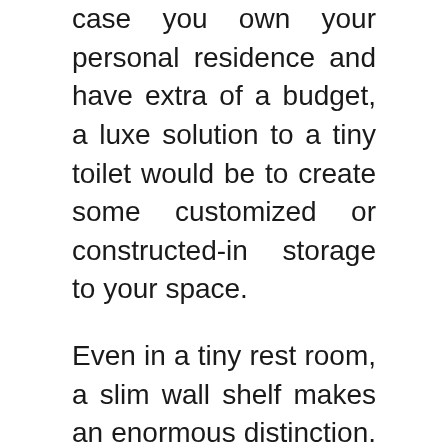case you own your personal residence and have extra of a budget, a luxe solution to a tiny toilet would be to create some customized or constructed-in storage to your space.
Even in a tiny rest room, a slim wall shelf makes an enormous distinction. Gertz suggests mixing marble tiles of different dimensions and shapes to create an intriguing pattern or focus. The area wows with warm, grey tile floors in a mosaic motif and a placing, sandy beige herringbone backsplash within the bathe stall. Palaces have been uncovered throughout Greece with